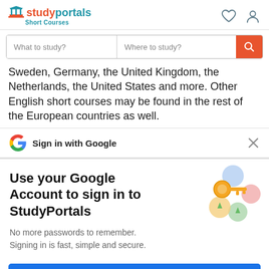studyportals Short Courses
Sweden, Germany, the United Kingdom, the Netherlands, the United States and more. Other English short courses may be found in the rest of the European countries as well.
Sign in with Google
Use your Google Account to sign in to StudyPortals
No more passwords to remember. Signing in is fast, simple and secure.
[Figure (illustration): Google key illustration with colorful circular shapes]
Continue